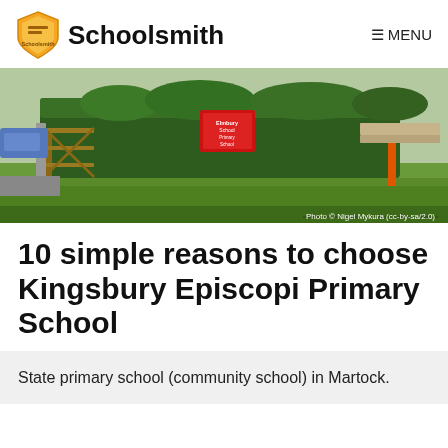Schoolsmith   MENU
[Figure (photo): Exterior photo of Kingsbury Episcopi Primary School showing a green hedge, a wooden gate, a red school sign, and a grassy area in front. Photo credit: © Nigel Mykura (cc-by-sa/2.0)]
10 simple reasons to choose Kingsbury Episcopi Primary School
State primary school (community school) in Martock.